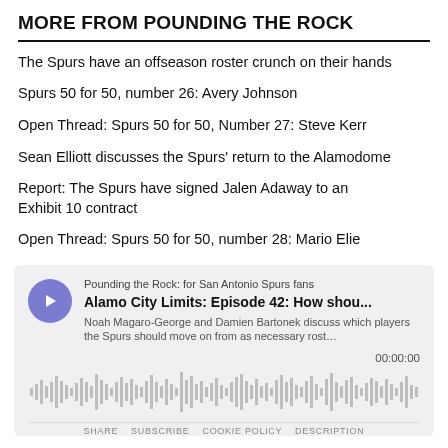MORE FROM POUNDING THE ROCK
The Spurs have an offseason roster crunch on their hands
Spurs 50 for 50, number 26: Avery Johnson
Open Thread: Spurs 50 for 50, Number 27: Steve Kerr
Sean Elliott discusses the Spurs' return to the Alamodome
Report: The Spurs have signed Jalen Adaway to an Exhibit 10 contract
Open Thread: Spurs 50 for 50, number 28: Mario Elie
[Figure (other): Podcast player widget for 'Pounding the Rock: for San Antonio Spurs fans' showing episode 'Alamo City Limits: Episode 42: How shou...' with description 'Noah Magaro-George and Damien Bartonek discuss which players the Spurs should move on from as necessary rost...' and timestamp 00:00:00 with audio waveform visualization]